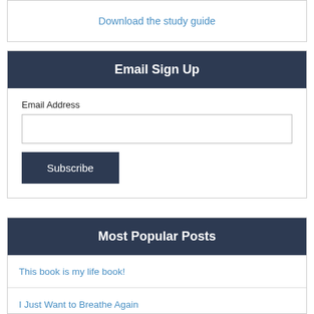Download the study guide
Email Sign Up
Email Address
Subscribe
Most Popular Posts
This book is my life book!
I Just Want to Breathe Again